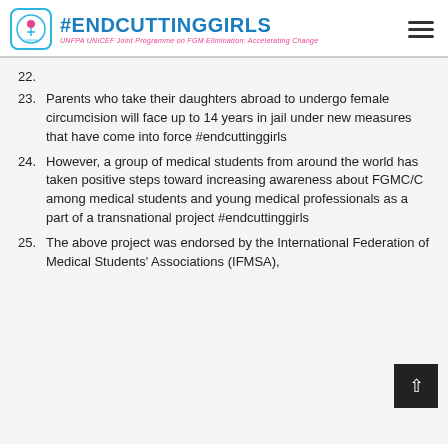#ENDCUTTINGGIRLS — UNFPA UNICEF Joint Programme on FGM Elimination: Accelerating Change
22.
23. Parents who take their daughters abroad to undergo female circumcision will face up to 14 years in jail under new measures that have come into force #endcuttinggirls
24. However, a group of medical students from around the world has taken positive steps toward increasing awareness about FGMC/C among medical students and young medical professionals as a part of a transnational project #endcuttinggirls
25. The above project was endorsed by the International Federation of Medical Students' Associations (IFMSA),